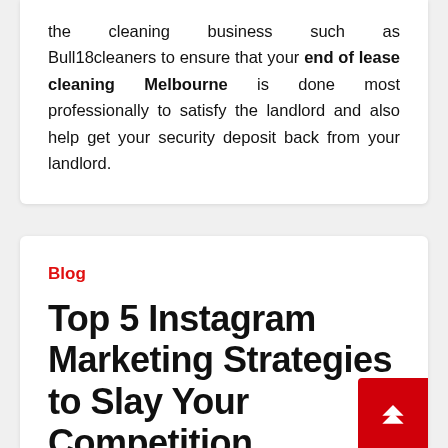the cleaning business such as Bull18cleaners to ensure that your end of lease cleaning Melbourne is done most professionally to satisfy the landlord and also help get your security deposit back from your landlord.
Blog
Top 5 Instagram Marketing Strategies to Slay Your Competition